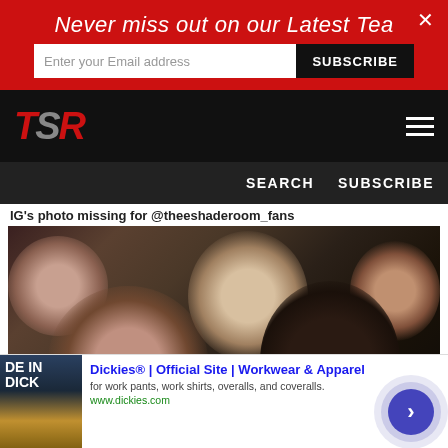Never miss out on our Latest Tea
[Figure (screenshot): TSR (The Shade Room) website navigation bar with red TSR logo on black background and hamburger menu icon]
SEARCH  SUBSCRIBE
IG's photo missing for @theeshaderoom_fans
[Figure (photo): Crowd of people at an event, showing faces of various audience members including an older white man and a young Black woman with long hair and heavy eye makeup]
Dickies® | Official Site | Workwear & Apparel
for work pants, work shirts, overalls, and coveralls.
www.dickies.com